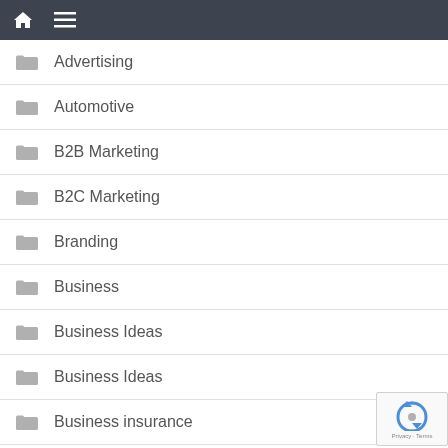Navigation bar with home and menu icons
Advertising
Automotive
B2B Marketing
B2C Marketing
Branding
Business
Business Ideas
Business Ideas
Business insurance
Business Law
Business loan